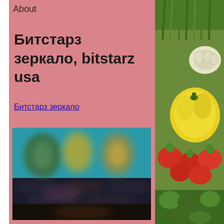About
Битстарз зеркало, bitstarz usa
Битстарз зеркало
[Figure (screenshot): Blurred screenshot of a casino or gaming website interface with dark and teal colors, showing blurred character figures in the upper portion and darker interface elements below.]
[Figure (photo): Photo of fresh vegetables including green onions, garlic, yellow bell pepper, red radishes, and green leafy herbs arranged together.]